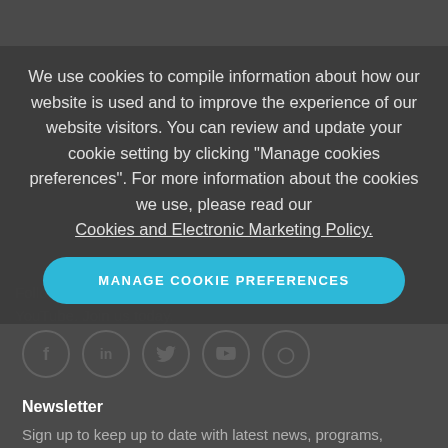[Figure (logo): College of Law logo with teal/green rounded square icon and text 'COLLEGE OF LAW']
We use cookies to compile information about how our website is used and to improve the experience of our website visitors. You can review and update your cookie setting by clicking "Manage cookies preferences". For more information about the cookies we use, please read our Cookies and Electronic Marketing Policy.
MANAGE COOKIE PREFERENCES
Follow us on Facebook, LinkedIn, Twitter, Instagram and YouTube. Join us today.
Newsletter
Sign up to keep up to date with latest news, programs, events and career tips.